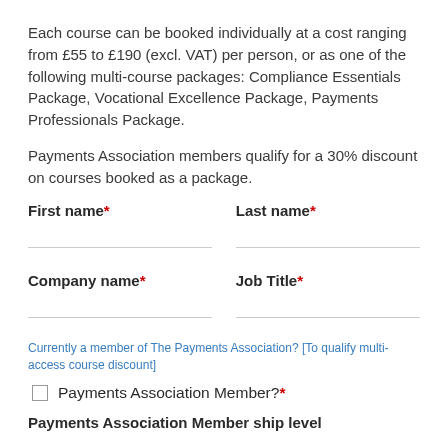Each course can be booked individually at a cost ranging from £55 to £190 (excl. VAT) per person, or as one of the following multi-course packages: Compliance Essentials Package, Vocational Excellence Package, Payments Professionals Package.
Payments Association members qualify for a 30% discount on courses booked as a package.
First name* | Last name* (form fields)
Company name* | Job Title* (form fields)
Currently a member of The Payments Association? [To qualify multi-access course discount]
Payments Association Member?*
Payments Association Member ship level (partial, cut off)